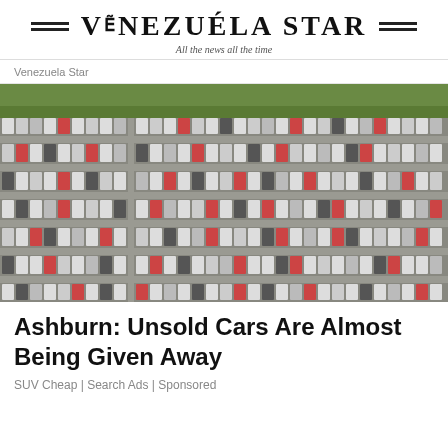Venezuela Star — All the news all the time
Venezuela Star
[Figure (photo): Aerial view of a massive parking lot filled with thousands of unsold cars arranged in dense rows, photographed from above.]
Ashburn: Unsold Cars Are Almost Being Given Away
SUV Cheap | Search Ads | Sponsored